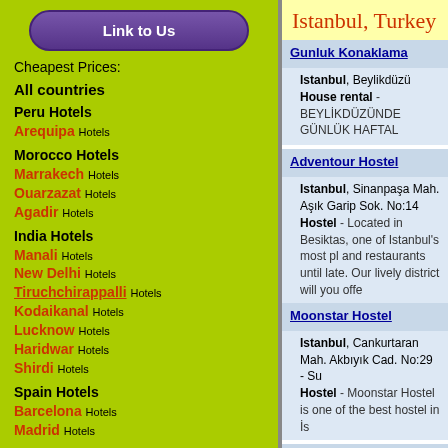Link to Us
Cheapest Prices:
All countries
Peru Hotels
Arequipa Hotels
Morocco Hotels
Marrakech Hotels
Ouarzazat Hotels
Agadir Hotels
India Hotels
Manali Hotels
New Delhi Hotels
Tiruchchirappalli Hotels
Kodaikanal Hotels
Lucknow Hotels
Haridwar Hotels
Shirdi Hotels
Spain Hotels
Barcelona Hotels
Madrid Hotels
Bosnia and Herzegovina Hotels
Mostar Hotels
Italy Hotels
Istanbul, Turkey
Gunluk Konaklama
Istanbul, Beylikdüzü
House rental - BEYLİKDÜZÜNDE GÜNLÜK HAFTAL
Adventour Hostel
Istanbul, Sinanpaşa Mah. Aşık Garip Sok. No:14
Hostel - Located in Besiktas, one of Istanbul's most pl and restaurants until late. Our lively district will you offe
Moonstar Hostel
Istanbul, Cankurtaran Mah. Akbıyık Cad. No:29 - Su
Hostel - Moonstar Hostel is one of the best hostel in İs
Taksim Sofa Hostel
Istanbul, Kuloğlu Mah. Ağa Külhani Sok.
Hostel - A clean ,cheap hostel in the middle of the you Center)
Yunus Emre Hostel Hotel
Istanbul, Sultamahmet Mah. Sifa Hamami Sok. 14 S
Hotel - Don't look any further! Enjoy your stay at YUNU
Taksim Hostel
Istanbul, Bogazkesen Caddesi N:92 Tophane